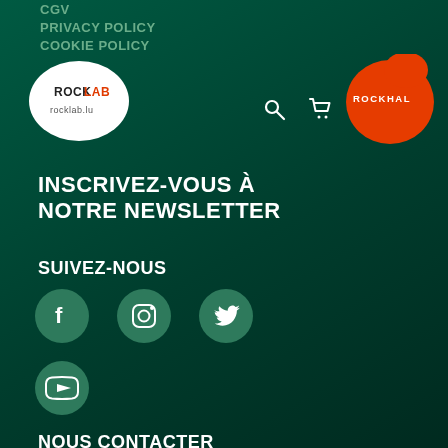CGV
PRIVACY POLICY
COOKIE POLICY
[Figure (logo): RockLab logo in white blob shape]
[Figure (logo): Rockhal orange blob logo top right]
INSCRIVEZ-VOUS À NOTRE NEWSLETTER
SUIVEZ-NOUS
[Figure (infographic): Social media icons: Facebook, Instagram, Twitter, YouTube in dark green circles]
NOUS CONTACTER
(+352)24 555 1
info@rockhal.lu
[Figure (logo): Rockhal orange blob logo bottom left]